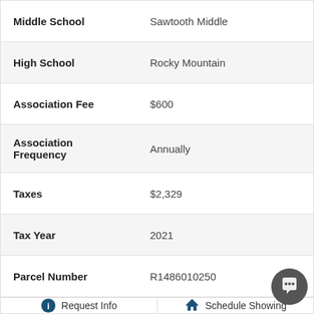| Field | Value |
| --- | --- |
| Middle School | Sawtooth Middle |
| High School | Rocky Mountain |
| Association Fee | $600 |
| Association Frequency | Annually |
| Taxes | $2,329 |
| Tax Year | 2021 |
| Parcel Number | R1486010250 |
Request Info
Schedule Showing
Add to Favorites